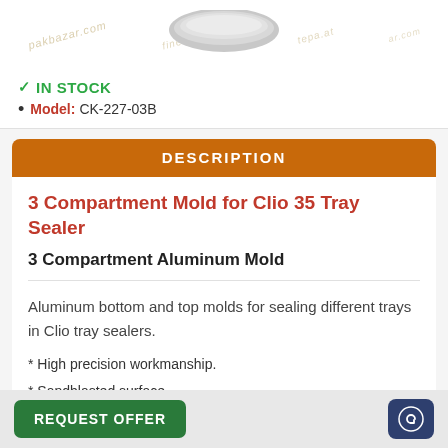[Figure (photo): Product photo of 3 Compartment Mold for Clio 35 Tray Sealer, partially visible at top with watermark overlays]
✓ IN STOCK
• Model: CK-227-03B
DESCRIPTION
3 Compartment Mold for Clio 35 Tray Sealer
3 Compartment Aluminum Mold
Aluminum bottom and top molds for sealing different trays in Clio tray sealers.
* High precision workmanship.
* Sandblasted surface.